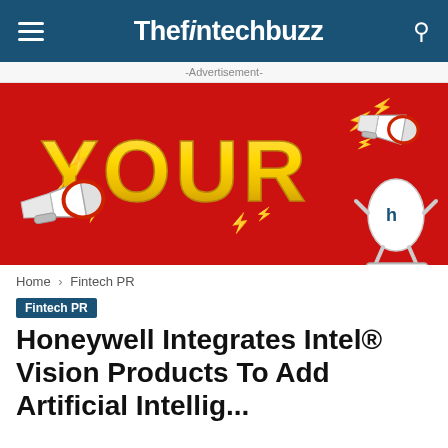Thefintechbuzz
-Advertisement-
[Figure (illustration): Red advertisement banner with bold gold text 'YOUR', lightning bolt graphics, and cartoon megaphone/loudspeaker characters including one on a skateboard]
Home › Fintech PR
Fintech PR
Honeywell Integrates Intel® Vision Products To Add Artificial Intellig...